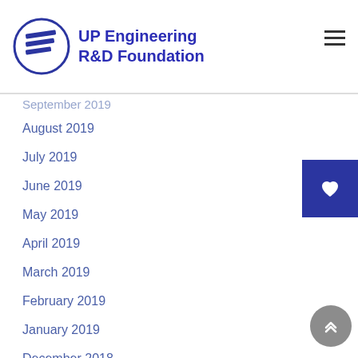UP Engineering R&D Foundation
September 2019
August 2019
July 2019
June 2019
May 2019
April 2019
March 2019
February 2019
January 2019
December 2018
November 2018